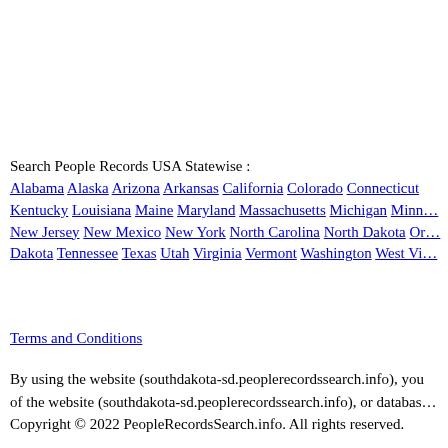Search People Records USA Statewise :
Alabama Alaska Arizona Arkansas California Colorado Connecticut Kentucky Louisiana Maine Maryland Massachusetts Michigan Minnesota New Jersey New Mexico New York North Carolina North Dakota Oregon South Dakota Tennessee Texas Utah Virginia Vermont Washington West Virginia
Terms and Conditions
By using the website (southdakota-sd.peoplerecordssearch.info), you of the website (southdakota-sd.peoplerecordssearch.info), or database Copyright © 2022 PeopleRecordsSearch.info. All rights reserved.